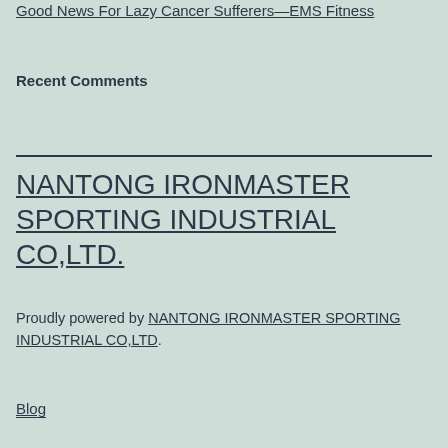Good News For Lazy Cancer Sufferers—EMS Fitness
Recent Comments
NANTONG IRONMASTER SPORTING INDUSTRIAL CO,LTD.
Proudly powered by NANTONG IRONMASTER SPORTING INDUSTRIAL CO,LTD.
Blog